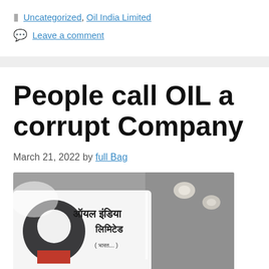Uncategorized, Oil India Limited
Leave a comment
People call OIL a corrupt Company
March 21, 2022 by full Bag
[Figure (photo): Oil India Limited signage with logo (dark circle with letter i in red) and Hindi text reading 'Oil India Limited' on a white illuminated sign, with spotlights visible in background]